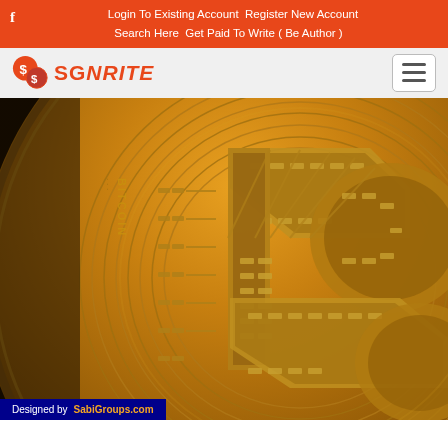f  Login To Existing Account  Register New Account  Search Here  Get Paid To Write ( Be Author )
[Figure (logo): SGWrite logo with orange coin/dollar icon and orange text SGNWRITE]
[Figure (photo): Close-up macro photo of a gold Bitcoin coin showing the Bitcoin symbol (B with two vertical lines) and circuit-board style engravings. The text BITCOIN is visible along the edge of the coin. Background is dark/black.]
Designed by SabiGroups.com